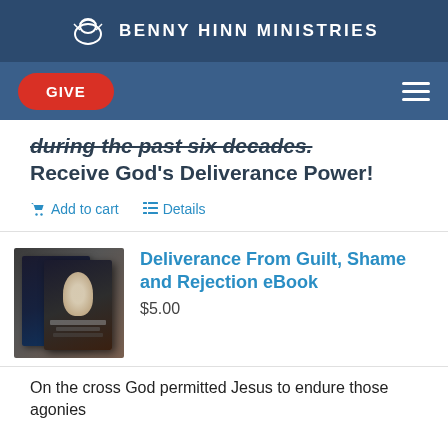BENNY HINN MINISTRIES
during the past six decades. Receive God's Deliverance Power!
Add to cart   Details
Deliverance From Guilt, Shame and Rejection eBook
$5.00
On the cross God permitted Jesus to endure those agonies